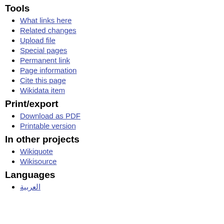Tools
What links here
Related changes
Upload file
Special pages
Permanent link
Page information
Cite this page
Wikidata item
Print/export
Download as PDF
Printable version
In other projects
Wikiquote
Wikisource
Languages
العربية